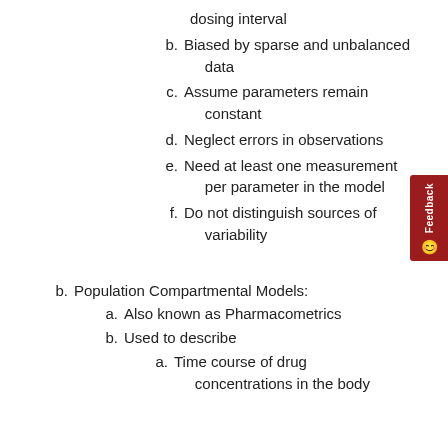dosing interval
b. Biased by sparse and unbalanced data
c. Assume parameters remain constant
d. Neglect errors in observations
e. Need at least one measurement per parameter in the model
f. Do not distinguish sources of variability
b. Population Compartmental Models:
a. Also known as Pharmacometrics
b. Used to describe
a. Time course of drug concentrations in the body